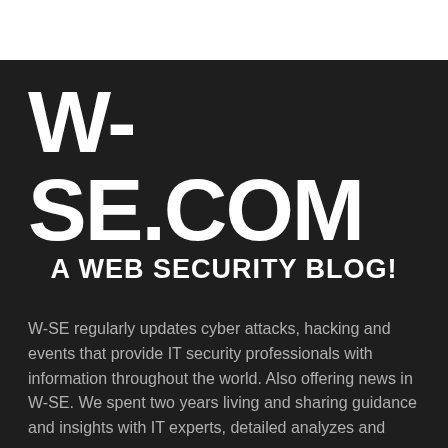W-SE.COM
A WEB SECURITY BLOG!
W-SE regularly updates cyber attacks, hacking and events that provide IT security professionals with information throughout the world. Also offering news in W-SE. We spent two years living and sharing guidance and insights with IT experts, detailed analyzes and news.
We also train people with product reviews in different form of